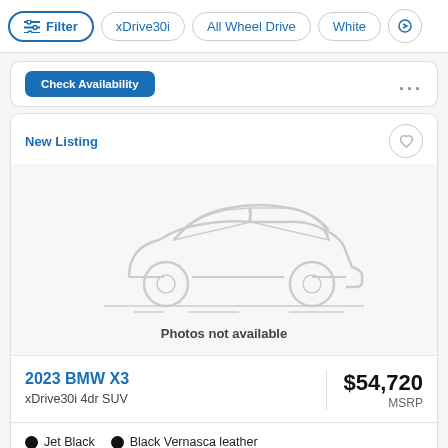Filter | xDrive30i | All Wheel Drive | White
[Figure (screenshot): Partial car listing card with 'Check Availability' button and ellipsis menu]
New Listing
[Figure (illustration): Car silhouette placeholder image with text 'Photos not available']
2023 BMW X3 xDrive30i 4dr SUV $54,720 MSRP
Jet Black   Black Vernasca leather